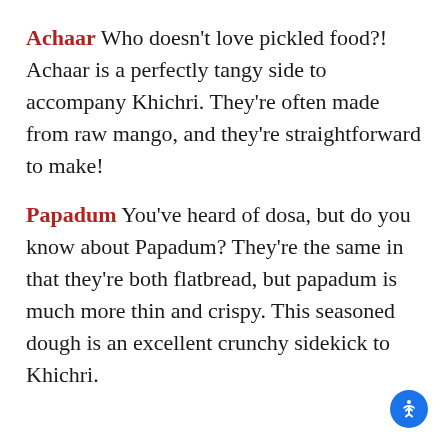Achaar Who doesn't love pickled food?! Achaar is a perfectly tangy side to accompany Khichri. They're often made from raw mango, and they're straightforward to make!
Papadum You've heard of dosa, but do you know about Papadum? They're the same in that they're both flatbread, but papadum is much more thin and crispy. This seasoned dough is an excellent crunchy sidekick to Khichri.